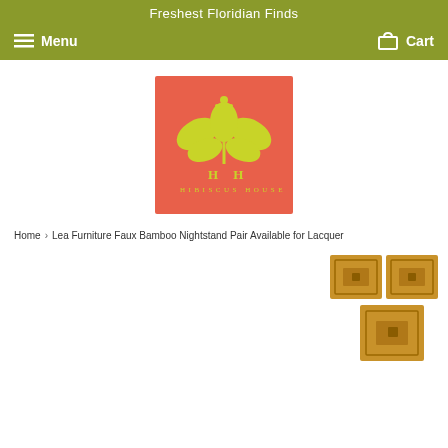Freshest Floridian Finds
Menu  Cart
[Figure (logo): Hibiscus House logo: coral/salmon square background with yellow-green hibiscus flower illustration and text 'H H HIBISCUS HOUSE']
Home › Lea Furniture Faux Bamboo Nightstand Pair Available for Lacquer
[Figure (photo): Two wooden nightstand thumbnails shown side by side]
[Figure (photo): Single wooden nightstand product image at bottom right]